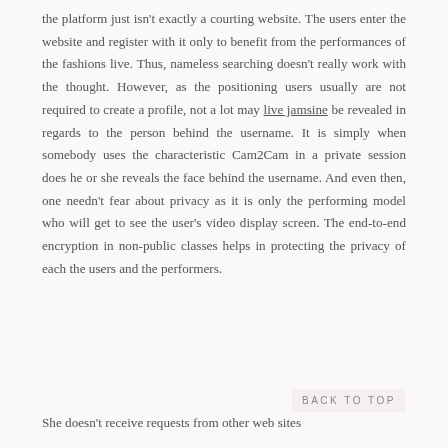the platform just isn't exactly a courting website. The users enter the website and register with it only to benefit from the performances of the fashions live. Thus, nameless searching doesn't really work with the thought. However, as the positioning users usually are not required to create a profile, not a lot may live jamsine be revealed in regards to the person behind the username. It is simply when somebody uses the characteristic Cam2Cam in a private session does he or she reveals the face behind the username. And even then, one needn't fear about privacy as it is only the performing model who will get to see the user's video display screen. The end-to-end encryption in non-public classes helps in protecting the privacy of each the users and the performers.
BACK TO TOP
She doesn't receive requests from other web sites